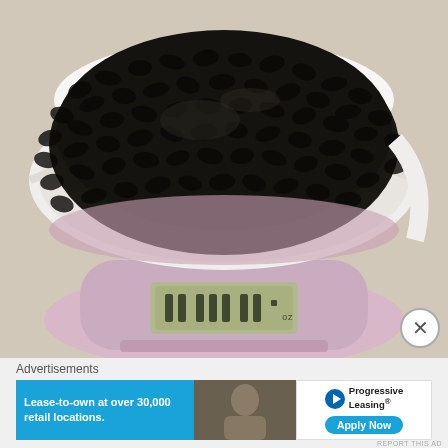[Figure (photo): A white ceramic bowl filled with dry black beans sitting on a pink/lavender digital kitchen scale. The scale's LCD display is visible at the bottom showing a weight reading. The background is a light cream/white countertop.]
Advertisements
[Figure (other): Advertisement banner with two sections: left blue section reads 'Lease-to-own at over 30,000 retail locations.' and right section shows Progressive Leasing logo with 'Apply Now' button.]